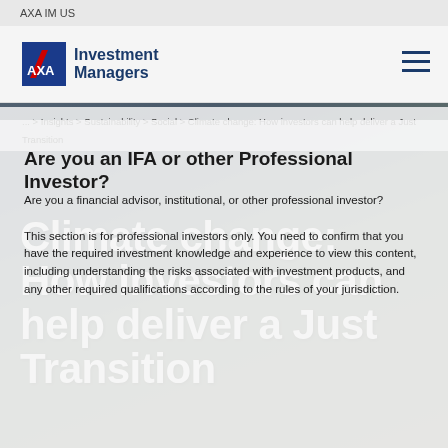AXA IM US
[Figure (logo): AXA Investment Managers logo with hamburger menu icon]
... > Insights > Sustainability > Social > Climate change: How investors can help deliver a Just Transition
Climate change: How investors can help deliver a Just Transition
Are you an IFA or other Professional Investor?
Are you a financial advisor, institutional, or other professional investor?

This section is for professional investors only. You need to confirm that you have the required investment knowledge and experience to view this content, including understanding the risks associated with investment products, and any other required qualifications according to the rules of your jurisdiction.